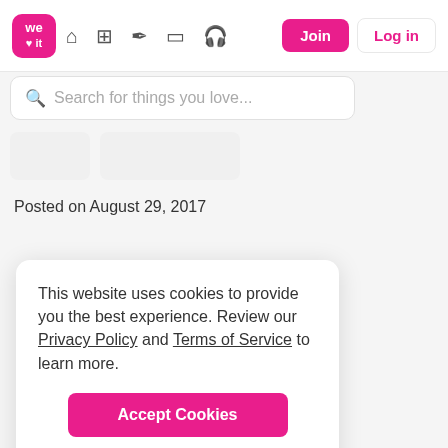We Heart It navigation bar with logo, icons, Join and Log in buttons
Search for things you love...
Posted on August 29, 2017
This website uses cookies to provide you the best experience. Review our Privacy Policy and Terms of Service to learn more.
Accept Cookies
Only users 16 years or older may use We Heart It.
[Figure (logo): We Heart It logo at bottom of page]